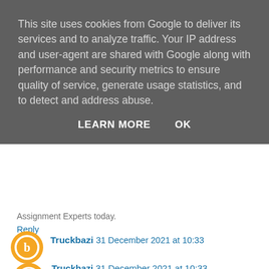This site uses cookies from Google to deliver its services and to analyze traffic. Your IP address and user-agent are shared with Google along with performance and security metrics to ensure quality of service, generate usage statistics, and to detect and address abuse.
LEARN MORE   OK
Assignment Experts today.
Reply
Truckbazi  31 December 2021 at 10:33
Truckbazi.com - A Genuine and a Trustworthy Classified Platform, Truckbazi.com enables the Owners, Dealers and the Transporters to Buy, Sell and Rent their Used Commercial Vehicles and Used Construction Equipment, across all over India. It's also a great platform for the Buyers as well, as there are thousands of products on our online platform.
Do you want to Sell Rent & buy used commercial vehicles